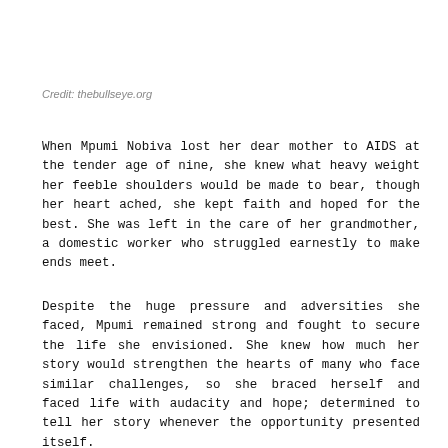Credit: thebullseye.org
When Mpumi Nobiva lost her dear mother to AIDS at the tender age of nine, she knew what heavy weight her feeble shoulders would be made to bear, though her heart ached, she kept faith and hoped for the best. She was left in the care of her grandmother, a domestic worker who struggled earnestly to make ends meet.
Despite the huge pressure and adversities she faced, Mpumi remained strong and fought to secure the life she envisioned. She knew how much her story would strengthen the hearts of many who face similar challenges, so she braced herself and faced life with audacity and hope; determined to tell her story whenever the opportunity presented itself.